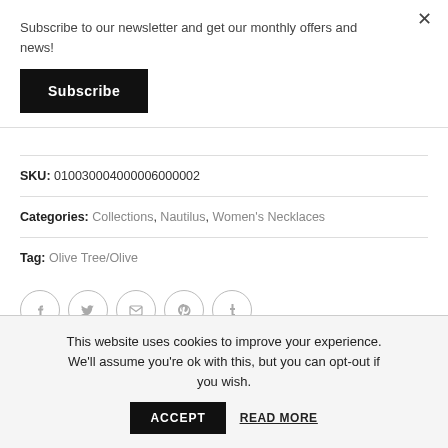Subscribe to our newsletter and get our monthly offers and news!
Subscribe
SKU: 010030004000006000002
Categories: Collections, Nautilus, Women's Necklaces
Tag: Olive Tree/Olive
[Figure (other): Social sharing icons: Facebook, Twitter, Email, Pinterest, Tumblr — circular outlined buttons]
This website uses cookies to improve your experience. We'll assume you're ok with this, but you can opt-out if you wish. ACCEPT READ MORE